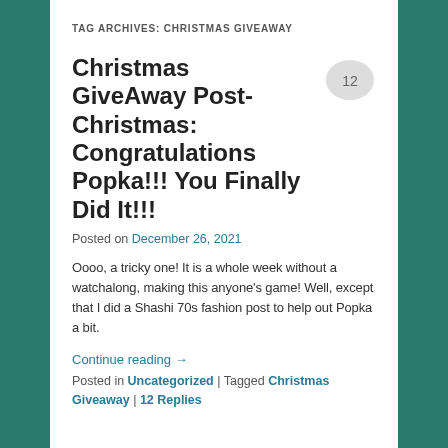TAG ARCHIVES: CHRISTMAS GIVEAWAY
Christmas GiveAway Post-Christmas: Congratulations Popka!!! You Finally Did It!!!
Posted on December 26, 2021
Oooo, a tricky one! It is a whole week without a watchalong, making this anyone's game! Well, except that I did a Shashi 70s fashion post to help out Popka a bit.
Continue reading →
Posted in Uncategorized | Tagged Christmas Giveaway | 12 Replies